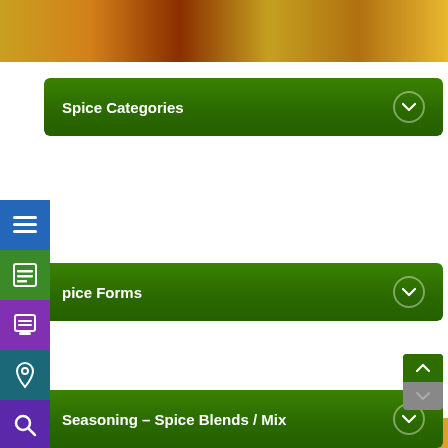[Figure (screenshot): Website interface showing a spice/food retailer page with colorful spice background images and a left sidebar with navigation icons (menu, document, archive, location, search) in blue, green, purple, teal, and violet. Three green accordion-style category panels are visible: 'Spice Categories', 'pice Forms' (partially visible, full text 'Spice Forms'), and 'Seasoning – Spice Blends / Mix', each with a chevron dropdown indicator. A scroll button appears at bottom right.]